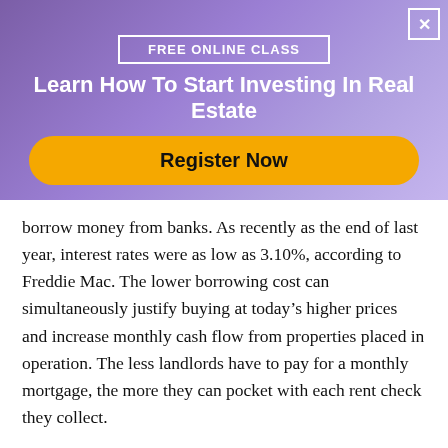FREE ONLINE CLASS
Learn How To Start Investing In Real Estate
Register Now
borrow money from banks. As recently as the end of last year, interest rates were as low as 3.10%, according to Freddie Mac. The lower borrowing cost can simultaneously justify buying at today’s higher prices and increase monthly cash flow from properties placed in operation. The less landlords have to pay for a monthly mortgage, the more they can pocket with each rent check they collect.
If that weren’t enough, the city’s lack of available housing would increase rental demand. While more people are ready and willing to buy in the Charlotte real estate market, there are only 0.7 months of inventory. Healthy markets typically have about seven months of inventory, which leaves real estate in Charlotte severely lacking. As a result, even those